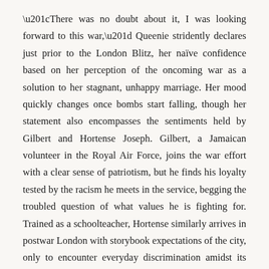“There was no doubt about it, I was looking forward to this war,” Queenie stridently declares just prior to the London Blitz, her naïve confidence based on her perception of the oncoming war as a solution to her stagnant, unhappy marriage. Her mood quickly changes once bombs start falling, though her statement also encompasses the sentiments held by Gilbert and Hortense Joseph. Gilbert, a Jamaican volunteer in the Royal Air Force, joins the war effort with a clear sense of patriotism, but he finds his loyalty tested by the racism he meets in the service, begging the troubled question of what values he is fighting for. Trained as a schoolteacher, Hortense similarly arrives in postwar London with storybook expectations of the city, only to encounter everyday discrimination amidst its cool, grey atmosphere. The lives of these three intersect in a boarding house run by Queenie, where they all manage to find a sense of safety through each other. This comfort changes climactically near the novel’s end